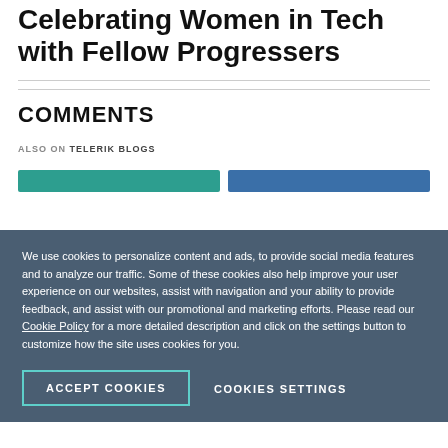Celebrating Women in Tech with Fellow Progressers
COMMENTS
ALSO ON TELERIK BLOGS
We use cookies to personalize content and ads, to provide social media features and to analyze our traffic. Some of these cookies also help improve your user experience on our websites, assist with navigation and your ability to provide feedback, and assist with our promotional and marketing efforts. Please read our Cookie Policy for a more detailed description and click on the settings button to customize how the site uses cookies for you.
ACCEPT COOKIES
COOKIES SETTINGS